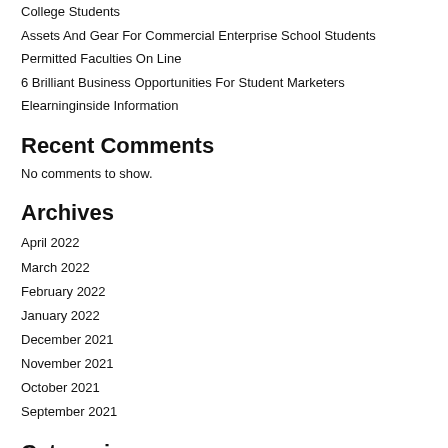College Students
Assets And Gear For Commercial Enterprise School Students
Permitted Faculties On Line
6 Brilliant Business Opportunities For Student Marketers
Elearninginside Information
Recent Comments
No comments to show.
Archives
April 2022
March 2022
February 2022
January 2022
December 2021
November 2021
October 2021
September 2021
Categorie